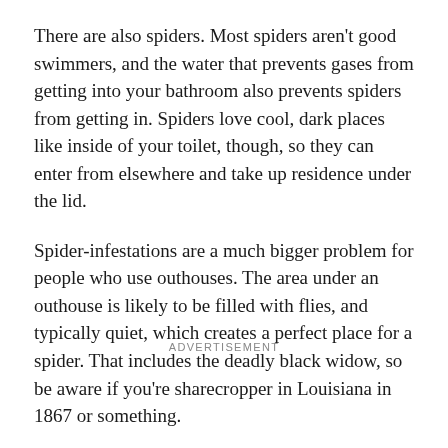There are also spiders. Most spiders aren't good swimmers, and the water that prevents gases from getting into your bathroom also prevents spiders from getting in. Spiders love cool, dark places like inside of your toilet, though, so they can enter from elsewhere and take up residence under the lid.
Spider-infestations are a much bigger problem for people who use outhouses. The area under an outhouse is likely to be filled with flies, and typically quiet, which creates a perfect place for a spider. That includes the deadly black widow, so be aware if you're sharecropper in Louisiana in 1867 or something.
ADVERTISEMENT